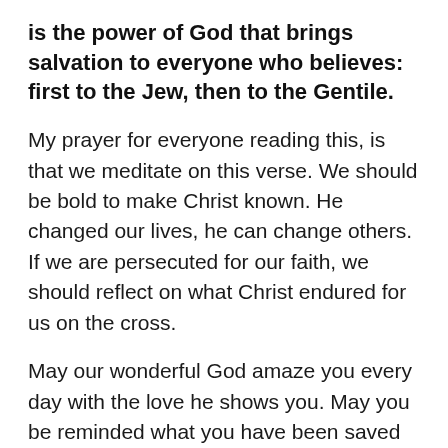is the power of God that brings salvation to everyone who believes: first to the Jew, then to the Gentile.
My prayer for everyone reading this, is that we meditate on this verse. We should be bold to make Christ known. He changed our lives, he can change others. If we are persecuted for our faith, we should reflect on what Christ endured for us on the cross.
May our wonderful God amaze you every day with the love he shows you. May you be reminded what you have been saved from, and what you have been saved for!